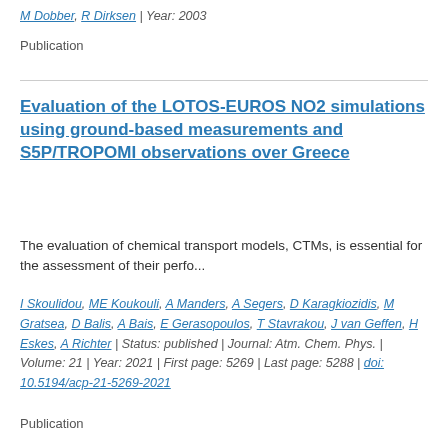M Dobber, R Dirksen | Year: 2003
Publication
Evaluation of the LOTOS-EUROS NO2 simulations using ground-based measurements and S5P/TROPOMI observations over Greece
The evaluation of chemical transport models, CTMs, is essential for the assessment of their perfo...
I Skoulidou, ME Koukouli, A Manders, A Segers, D Karagkiozidis, M Gratsea, D Balis, A Bais, E Gerasopoulos, T Stavrakou, J van Geffen, H Eskes, A Richter | Status: published | Journal: Atm. Chem. Phys. | Volume: 21 | Year: 2021 | First page: 5269 | Last page: 5288 | doi: 10.5194/acp-21-5269-2021
Publication